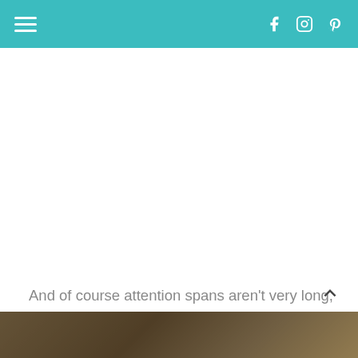Navigation header with hamburger menu and social icons (Facebook, Instagram, Pinterest)
And of course attention spans aren’t very long, so we had to distract him a bit.
[Figure (photo): Bottom portion of a photo showing a person in a dark shirt, partially visible at the bottom of the page]